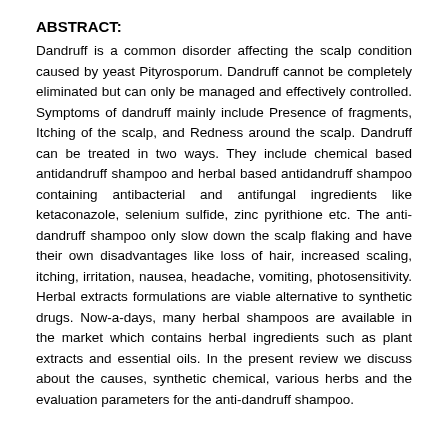ABSTRACT:
Dandruff is a common disorder affecting the scalp condition caused by yeast Pityrosporum. Dandruff cannot be completely eliminated but can only be managed and effectively controlled. Symptoms of dandruff mainly include Presence of fragments, Itching of the scalp, and Redness around the scalp. Dandruff can be treated in two ways. They include chemical based antidandruff shampoo and herbal based antidandruff shampoo containing antibacterial and antifungal ingredients like ketaconazole, selenium sulfide, zinc pyrithione etc. The anti-dandruff shampoo only slow down the scalp flaking and have their own disadvantages like loss of hair, increased scaling, itching, irritation, nausea, headache, vomiting, photosensitivity. Herbal extracts formulations are viable alternative to synthetic drugs. Now-a-days, many herbal shampoos are available in the market which contains herbal ingredients such as plant extracts and essential oils. In the present review we discuss about the causes, synthetic chemical, various herbs and the evaluation parameters for the anti-dandruff shampoo.